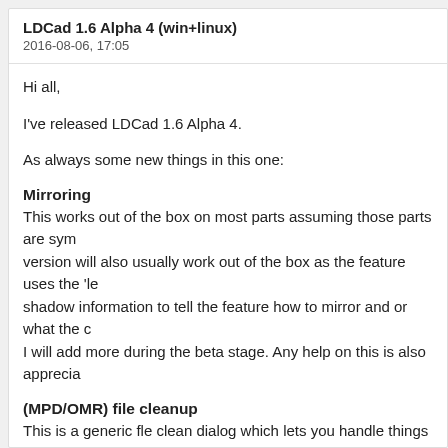LDCad 1.6 Alpha 4 (win+linux)
2016-08-06, 17:05
Hi all,
I've released LDCad 1.6 Alpha 4.
As always some new things in this one:
Mirroring
This works out of the box on most parts assuming those parts are sym version will also usually work out of the box as the feature uses the 'le shadow information to tell the feature how to mirror and or what the c I will add more during the beta stage. Any help on this is also apprecia
(MPD/OMR) file cleanup
This is a generic fle clean dialog which lets you handle things like pre
Layered grouping (EXPERIMENTAL)
Quick and dirty implementation of layering. This allows for the differen disable grouping to work with the loose items without having to ungro